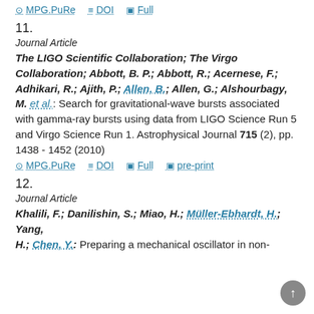MPG.PuRe | DOI | Full
11.
Journal Article
The LIGO Scientific Collaboration; The Virgo Collaboration; Abbott, B. P.; Abbott, R.; Acernese, F.; Adhikari, R.; Ajith, P.; Allen, B.; Allen, G.; Alshourbagy, M. et al.: Search for gravitational-wave bursts associated with gamma-ray bursts using data from LIGO Science Run 5 and Virgo Science Run 1. Astrophysical Journal 715 (2), pp. 1438 - 1452 (2010)
MPG.PuRe | DOI | Full | pre-print
12.
Journal Article
Khalili, F.; Danilishin, S.; Miao, H.; Müller-Ebhardt, H.; Yang, H.; Chen, Y.: Preparing a mechanical oscillator in non-